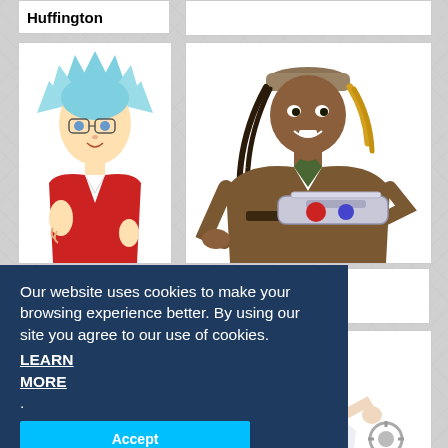Huffington
[Figure (illustration): Anime character with light blue spiky hair wearing a red jacket, Yu-Gi-Oh GX style]
esdale
[Figure (illustration): Anime character Tyranno Hassleberry with dreadlocks, brown outfit, holding a duel disk weapon]
Tyranno Hassleberry
[Figure (illustration): Anime character with teal/dark green hair wearing white uniform, Yu-Gi-Oh GX style]
Our website uses cookies to make your browsing experience better. By using our site you agree to our use of cookies. LEARN MORE.
Accept